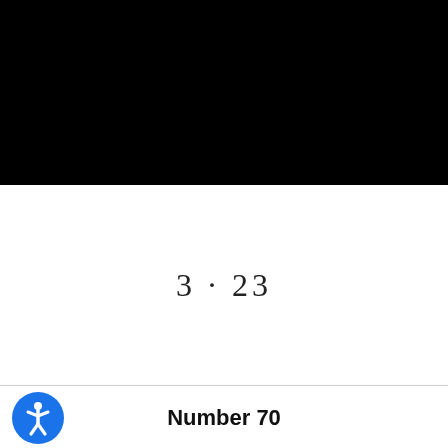[Figure (other): Black rectangular banner at the top of the page]
Number 70